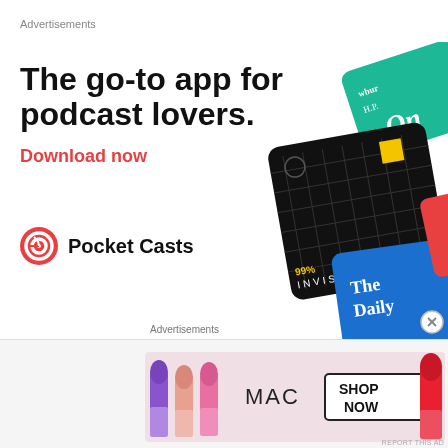Advertisements
[Figure (illustration): Pocket Casts app advertisement showing podcast app cards (99% Invisible, The Daily, WBUR) with bold headline 'The go-to app for podcast lovers.' and red 'Download now' CTA, Pocket Casts logo at bottom left]
Those are the top 5 must-have products that I would
recommend as a Sjogren's Syndrome and eczema patient with
Advertisements
[Figure (photo): MAC Cosmetics advertisement with lipsticks in purple, pink, and red colors on left, MAC logo in center, 'SHOP NOW' button on right]